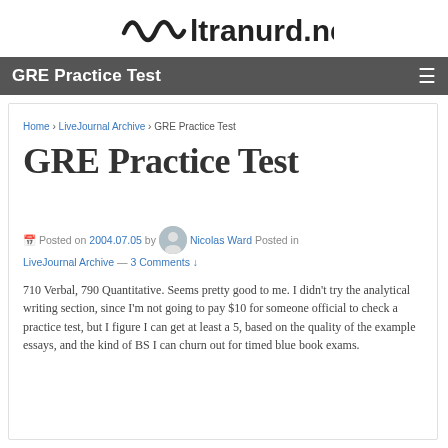[Figure (logo): ultranurd.net logo with stylized wave/signal icon and text]
GRE Practice Test
Home › LiveJournal Archive › GRE Practice Test
GRE Practice Test
Posted on 2004.07.05 by Nicolas Ward Posted in LiveJournal Archive — 3 Comments ↓
710 Verbal, 790 Quantitative. Seems pretty good to me. I didn't try the analytical writing section, since I'm not going to pay $10 for someone official to check a practice test, but I figure I can get at least a 5, based on the quality of the example essays, and the kind of BS I can churn out for timed blue book exams.